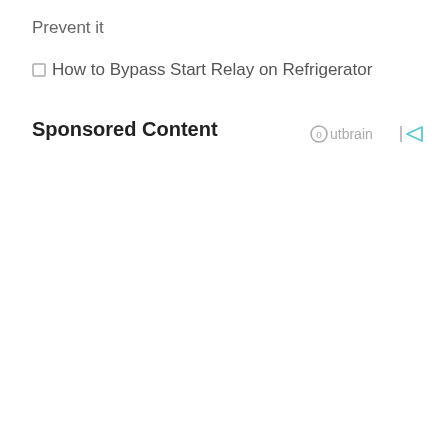Prevent it
How to Bypass Start Relay on Refrigerator
Sponsored Content
[Figure (logo): Outbrain logo with circle icon and arrow symbol]